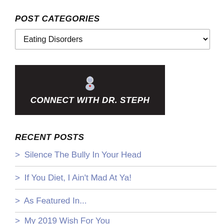POST CATEGORIES
Eating Disorders (dropdown)
[Figure (illustration): Dark banner with icon and text 'CONNECT WITH DR. STEPH']
RECENT POSTS
> Silence The Bully In Your Head
> If You Diet, I Ain't Mad At Ya!
> As Featured In...
> My 2019 Wish For You